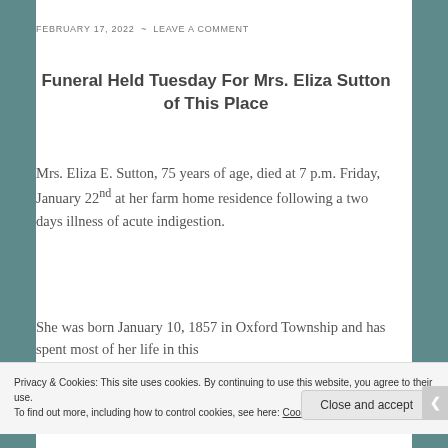FEBRUARY 17, 2022 ~ LEAVE A COMMENT
Funeral Held Tuesday For Mrs. Eliza Sutton of This Place
Mrs. Eliza E. Sutton, 75 years of age, died at 7 p.m. Friday, January 22nd at her farm home residence following a two days illness of acute indigestion.
She was born January 10, 1857 in Oxford Township and has spent most of her life in this
Privacy & Cookies: This site uses cookies. By continuing to use this website, you agree to their use. To find out more, including how to control cookies, see here: Cookie Policy